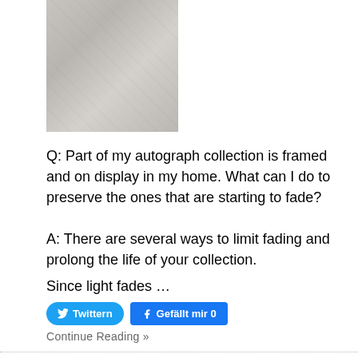[Figure (photo): A close-up photo of a white/grey fabric surface with a faint handwritten autograph/signature visible on it.]
Q: Part of my autograph collection is framed and on display in my home. What can I do to preserve the ones that are starting to fade?
A: There are several ways to limit fading and prolong the life of your collection.
Since light fades …
Twittern   Gefällt mir 0
Continue Reading »
10 Reasons to Invest in